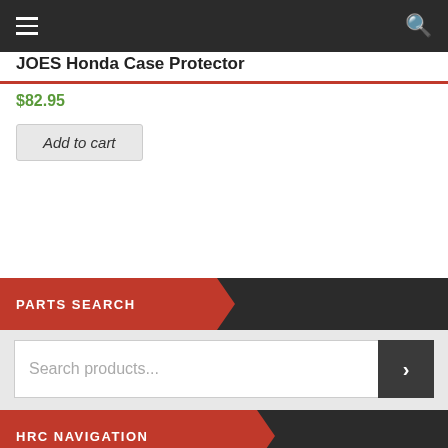JOES Honda Case Protector
$82.95
Add to cart
PARTS SEARCH
Search products...
HRC NAVIGATION
BRAKES